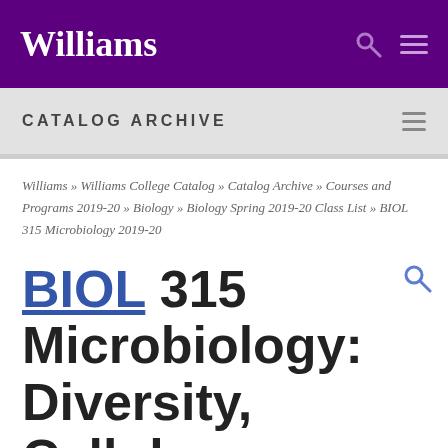Williams
CATALOG ARCHIVE
Williams » Williams College Catalog » Catalog Archive » Courses and Programs 2019-20 » Biology » Biology Spring 2019-20 Class List » BIOL 315 Microbiology 2019-20
BIOL 315 Microbiology: Diversity, Cellular